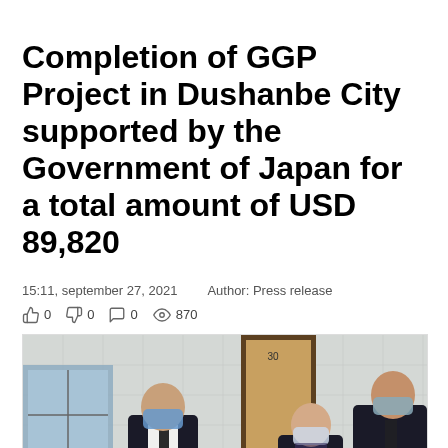Completion of GGP Project in Dushanbe City supported by the Government of Japan for a total amount of USD 89,820
15:11, september 27, 2021    Author: Press release
0  0  0  870
[Figure (photo): Three men wearing face masks standing in a room with medical/electronic equipment. The man on the left in a dark suit and tie is gesturing toward equipment. Two other men stand to the right, one holding papers. The room has white tiled walls and a dark doorway in the background.]